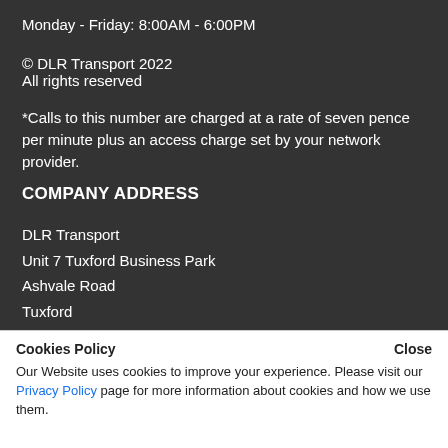Monday - Friday: 8:00AM - 6:00PM
© DLR Transport 2022
All rights reserved
*Calls to this number are charged at a rate of seven pence per minute plus an access charge set by your network provider.
COMPANY ADDRESS
DLR Transport
Unit 7 Tuxford Business Park
Ashvale Road
Tuxford
Cookies Policy    Close
Our Website uses cookies to improve your experience. Please visit our Privacy Policy page for more information about cookies and how we use them.